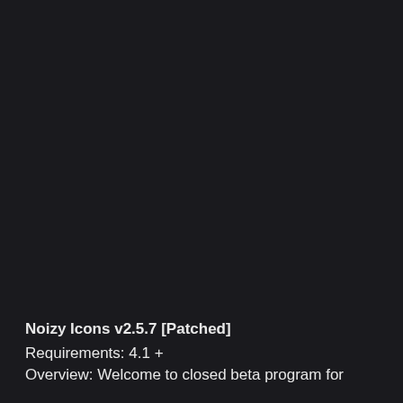[Figure (photo): Dark/black background occupying the upper portion of the page, likely a screenshot or app icon background with near-black color.]
Noizy Icons v2.5.7 [Patched]
Requirements: 4.1 +
Overview: Welcome to closed beta program for